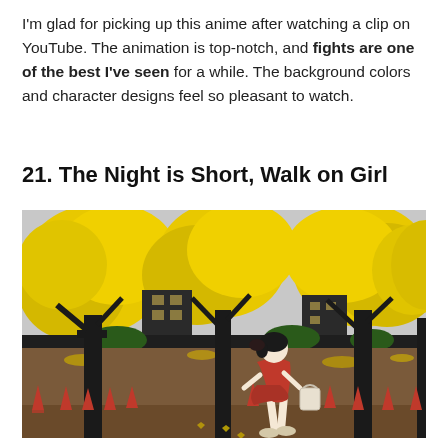I'm glad for picking up this anime after watching a clip on YouTube. The animation is top-notch, and fights are one of the best I've seen for a while. The background colors and character designs feel so pleasant to watch.
21. The Night is Short, Walk on Girl
[Figure (illustration): Anime illustration from 'The Night is Short, Walk on Girl' showing a girl in a red dress walking along a path lined with red traffic cones, surrounded by vibrant yellow-leafed trees and dark buildings in the background.]